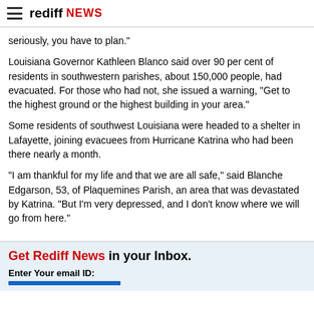rediff NEWS
seriously, you have to plan."
Louisiana Governor Kathleen Blanco said over 90 per cent of residents in southwestern parishes, about 150,000 people, had evacuated. For those who had not, she issued a warning, "Get to the highest ground or the highest building in your area."
Some residents of southwest Louisiana were headed to a shelter in Lafayette, joining evacuees from Hurricane Katrina who had been there nearly a month.
"I am thankful for my life and that we are all safe," said Blanche Edgarson, 53, of Plaquemines Parish, an area that was devastated by Katrina. "But I'm very depressed, and I don't know where we will go from here."
Get Rediff News in your Inbox. Enter Your email ID: